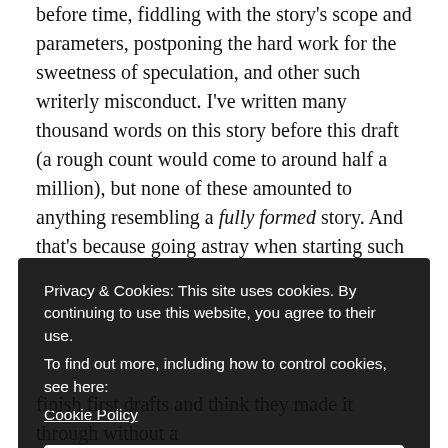before time, fiddling with the story's scope and parameters, postponing the hard work for the sweetness of speculation, and other such writerly misconduct. I've written many thousand words on this story before this draft (a rough count would come to around half a million), but none of these amounted to anything resembling a fully formed story. And that's because going astray when starting such a big endeavor like a novel without a good plan is practically pre-programmed.
Privacy & Cookies: This site uses cookies. By continuing to use this website, you agree to their use.
To find out more, including how to control cookies, see here:
Cookie Policy
Close and accept
finish first drafts and think they made it through without a